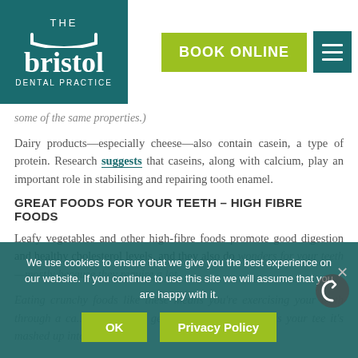[Figure (logo): The Bristol Dental Practice logo — teal background with white text and a smile arc graphic]
[Figure (other): Green 'BOOK ONLINE' button and teal hamburger menu icon]
some of the same properties.)
Dairy products—especially cheese—also contain casein, a type of protein. Research suggests that caseins, along with calcium, play an important role in stabilising and repairing tooth enamel.
GREAT FOODS FOR YOUR TEETH – HIGH FIBRE FOODS
Leafy vegetables and other high-fibre foods promote good digestion and healthy cholesterol levels, and they also do wonders for your teeth—mostly because they require a lot…
We use cookies to ensure that we give you the best experience on our website. If you continue to use this site we will assume that you are happy with it.
OK
Privacy Policy